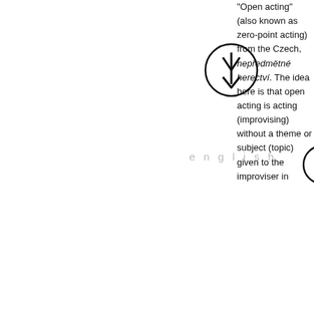[Figure (logo): A circular logo with a downward-pointing arrow overlaid with the letter V inside a circle, outlined in black.]
english
[Figure (logo): A circle with the letter E inside, outlined in black.]
“Open acting” (also known as zero-point acting) from the Czech, nepředmětné herectví. The idea here is that open acting is acting (improvising) without a theme or subject (topic) given to the improviser in